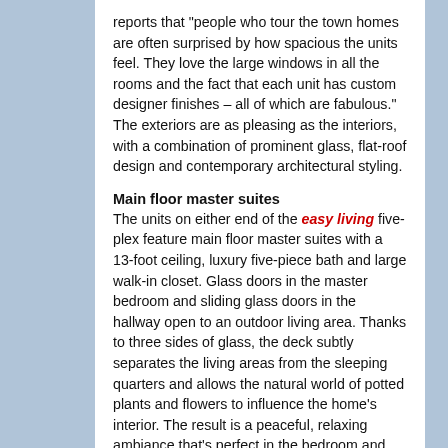reports that "people who tour the town homes are often surprised by how spacious the units feel. They love the large windows in all the rooms and the fact that each unit has custom designer finishes – all of which are fabulous." The exteriors are as pleasing as the interiors, with a combination of prominent glass, flat-roof design and contemporary architectural styling.
Main floor master suites
The units on either end of the easy living five-plex feature main floor master suites with a 13-foot ceiling, luxury five-piece bath and large walk-in closet. Glass doors in the master bedroom and sliding glass doors in the hallway open to an outdoor living area. Thanks to three sides of glass, the deck subtly separates the living areas from the sleeping quarters and allows the natural world of potted plants and flowers to influence the home's interior. The result is a peaceful, relaxing ambiance that's perfect in the bedroom and dining area. A large rectangular island with seating for four anchors the open main floor and serves as the focal